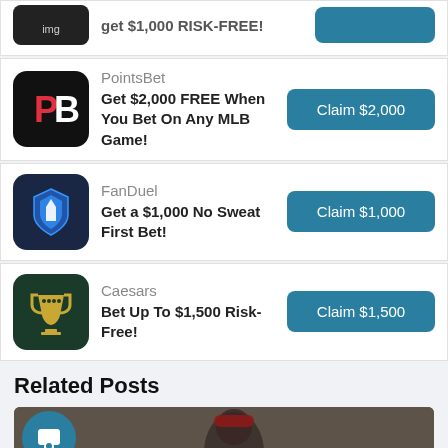[Figure (screenshot): Partial top card showing logo and 'get $1,000 RISK-FREE!' text with claim button]
PointsBet - Get $2,000 FREE When You Bet On Any MLB Game! - Claim $2,000
FanDuel - Get a $1,000 No Sweat First Bet! - Claim $1,000
Caesars - Bet Up To $1,500 Risk-Free! - Claim $1,500
Related Posts
[Figure (photo): Photo of a coach in a red cap shouting, with a teal circular avatar overlay in bottom left]